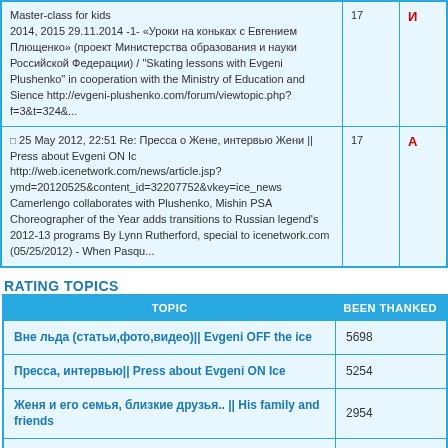| Topic | Replies | Author |
| --- | --- | --- |
| Master-class for kids
2014, 2015 29.11.2014 -1- «Уроки на коньках с Евгением Плющенко» (проект Министерства образования и науки Российской Федерации) / "Skating lessons with Evgeni Plushenko" in cooperation with the Ministry of Education and Sience http://evgeni-plushenko.com/forum/viewtopic.php?f=3&t=324&... | 17 | И |
| □ 25 May 2012, 22:51 Re: Пресса о Жене, интервью Жени || Press about Evgeni ON Ic
http://web.icenetwork.com/news/article.jsp?ymd=20120525&content_id=32207752&vkey=ice_news
Camerlengo collaborates with Plushenko, Mishin PSA Choreographer of the Year adds transitions to Russian legend's 2012-13 programs By Lynn Rutherford, special to icenetwork.com (05/25/2012) - When Pasqu... | 17 | A |
RATING TOPICS
| TOPIC | BEEN THANKED |
| --- | --- |
| Вне льда (статьи,фото,видео)|| Evgeni OFF the ice | 5698 |
| Пресса, интервью|| Press about Evgeni ON Ice | 5254 |
| Женя и его семья, близкие друзья.. || His family and friends | 2954 |
| Другие интересные новости || Other interesting news | 2667 |